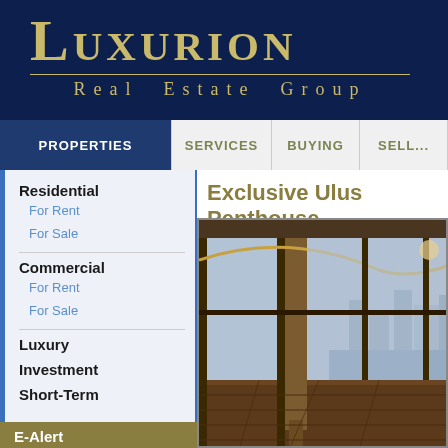LUXURION Real Estate Group
PROPERTIES | SERVICES | BUYING | SELL...
Residential
For Rent
For Sale
Commercial
For Rent
For Sale
Luxury
Investment
Short-Term
E-Alert
To find more
Exclusive Ulus Penthouse
[Figure (photo): Interior of a luxury penthouse with floor-to-ceiling glass windows overlooking a cityscape, featuring wooden flooring and a curved ceiling with accent lighting.]